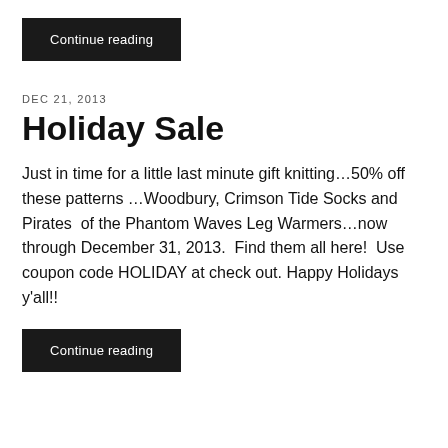Continue reading
DEC 21, 2013
Holiday Sale
Just in time for a little last minute gift knitting…50% off these patterns …Woodbury, Crimson Tide Socks and Pirates  of the Phantom Waves Leg Warmers…now through December 31, 2013.  Find them all here!  Use coupon code HOLIDAY at check out. Happy Holidays y'all!!
Continue reading